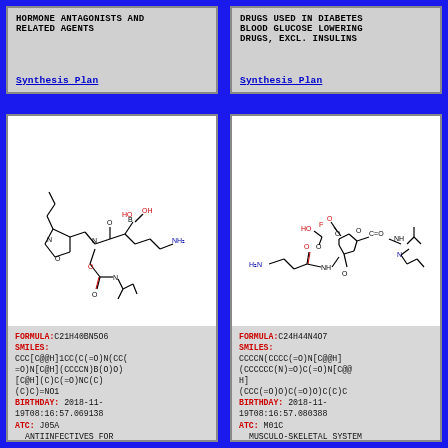HORMONE ANTAGONISTS AND RELATED AGENTS
Synthesis Plan
DRUGS USED IN DIABETES BLOOD GLUCOSE LOWERING DRUGS, EXCL. INSULINS
Synthesis Plan
[Figure (illustration): Chemical structure diagram of molecule with formula C21H40BN5O6]
FORMULA:C21H40BN5O6
SMILES:
CCC[C@@H]1CC(C(=O)N(CC(=O)N[C@H](CCCCN)B(O)O)[C@H](C)C(=O)NC(C)(C)C)=NO1
BIRTHDAY: 2018-11-19T08:16:57.069138
ATC: J05A
ANTIINFECTIVES FOR SYSTEMIC USE
ANTIVIRALS FOR SYSTEMIC USE
DIRECT-ACTING ANTIVIRALS
[Figure (illustration): Chemical structure diagram of molecule with formula C24H44N4O7]
FORMULA:C24H44N4O7
SMILES:
CCCCN(CCCC(=O)N[C@@H](CCCCCC(N)=O)C(=O)N[C@@H](CCC(=O)O)C(=O)O)C(C)C
BIRTHDAY: 2018-11-19T08:16:57.080388
ATC: M01C
MUSCULO-SKELETAL SYSTEM
ANTIINFLAMMATORY AND ANTIRHEUMATIC PRODUCTS
SPECIFIC ANTIRHEUMATIC AGENTS